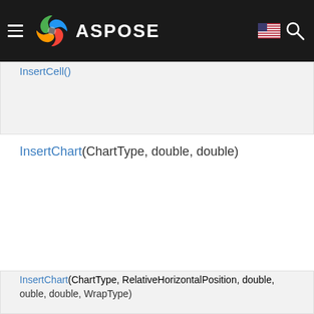ASPOSE
InsertCell()
InsertChart(ChartType, double, double)
InsertChart(ChartType, RelativeHorizontalPosition, double, double, double, double, WrapType)